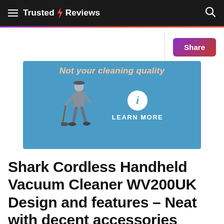Trusted Reviews
[Figure (screenshot): Advertisement banner with blue background showing 'Not your cleaning quality' text in peach/orange italic font, a cartoon janitor figure holding a broom on the left, and a white circle info icon with 'LEARN MORE' text in white below it in the center.]
Shark Cordless Handheld Vacuum Cleaner WV200UK Design and features – Neat with decent accessories